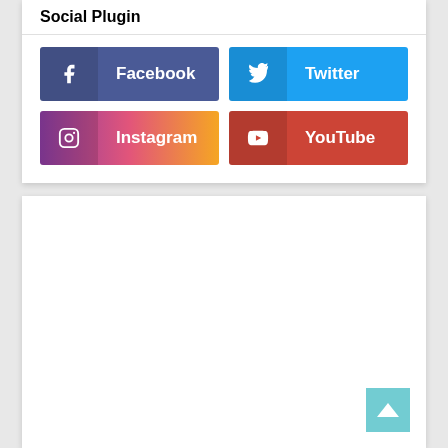Social Plugin
[Figure (infographic): Social media buttons grid with Facebook (blue-purple), Twitter (blue), Instagram (gradient pink-purple), YouTube (red) buttons]
[Figure (other): White card panel below the social plugin, with a teal back-to-top arrow button in the bottom right corner]